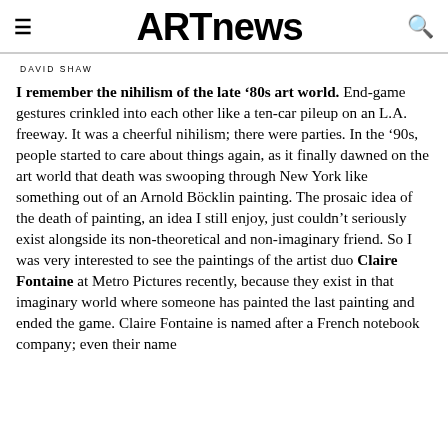ARTnews
DAVID SHAW
I remember the nihilism of the late ’80s art world. End-game gestures crinkled into each other like a ten-car pileup on an L.A. freeway. It was a cheerful nihilism; there were parties. In the ’90s, people started to care about things again, as it finally dawned on the art world that death was swooping through New York like something out of an Arnold Böcklin painting. The prosaic idea of the death of painting, an idea I still enjoy, just couldn’t seriously exist alongside its non-theoretical and non-imaginary friend. So I was very interested to see the paintings of the artist duo Claire Fontaine at Metro Pictures recently, because they exist in that imaginary world where someone has painted the last painting and ended the game. Claire Fontaine is named after a French notebook company; even their name